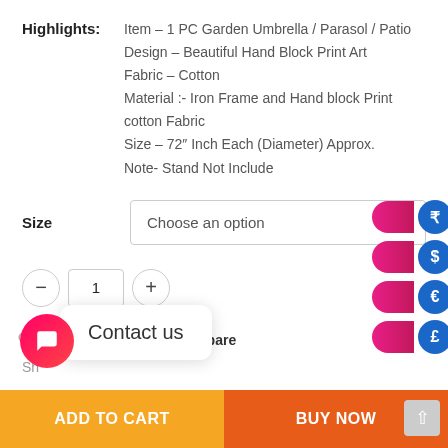Highlights: Item – 1 PC Garden Umbrella / Parasol / Patio Design – Beautiful Hand Block Print Art Fabric – Cotton Material :- Iron Frame and Hand block Print cotton Fabric Size – 72" Inch Each (Diameter) Approx. Note- Stand Not Include
Size  Choose an option
- 1 +
Add to wishlist  Compare
Contact us
ADD TO CART   BUY NOW